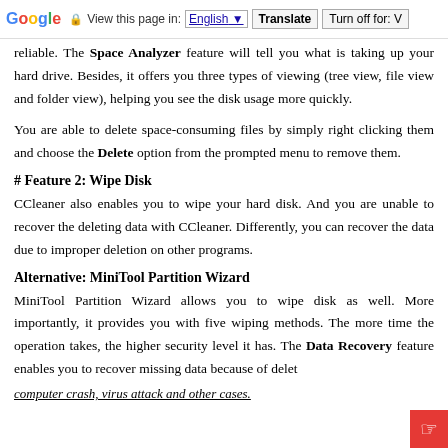Google  View this page in: English [▼]  Translate  Turn off for: V
reliable. The Space Analyzer feature will tell you what is taking up your hard drive. Besides, it offers you three types of viewing (tree view, file view and folder view), helping you see the disk usage more quickly. You are able to delete space-consuming files by simply right clicking them and choose the Delete option from the prompted menu to remove them.
# Feature 2: Wipe Disk
CCleaner also enables you to wipe your hard disk. And you are unable to recover the deleting data with CCleaner. Differently, you can recover the data due to improper deletion on other programs.
Alternative: MiniTool Partition Wizard
MiniTool Partition Wizard allows you to wipe disk as well. More importantly, it provides you with five wiping methods. The more time the operation takes, the higher security level it has. The Data Recovery feature enables you to recover missing data because of delet... computer crash, virus attack and other cases.